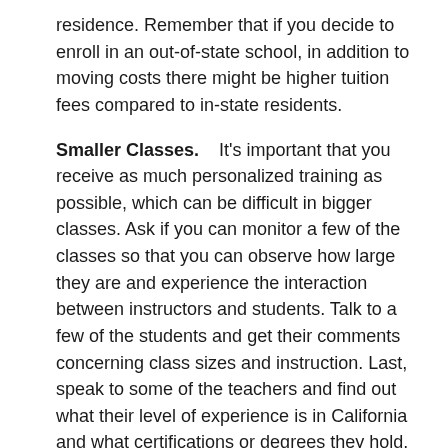residence. Remember that if you decide to enroll in an out-of-state school, in addition to moving costs there might be higher tuition fees compared to in-state residents.
Smaller Classes.   It's important that you receive as much personalized training as possible, which can be difficult in bigger classes. Ask if you can monitor a few of the classes so that you can observe how large they are and experience the interaction between instructors and students. Talk to a few of the students and get their comments concerning class sizes and instruction. Last, speak to some of the teachers and find out what their level of experience is in California and what certifications or degrees they hold.
Flexible Scheduling.  Verify that the class schedules for the programs you are assessing are flexible enough to meet your needs. If you are only able to attend classes